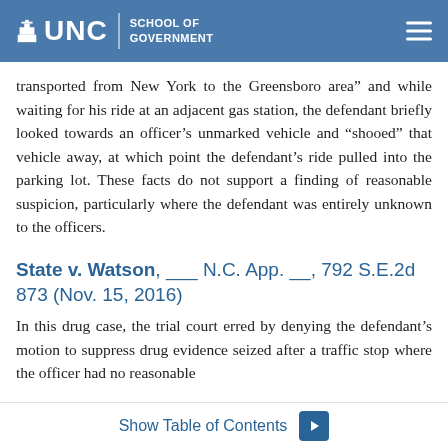UNC School of Government
transported from New York to the Greensboro area" and while waiting for his ride at an adjacent gas station, the defendant briefly looked towards an officer's unmarked vehicle and “shooed” that vehicle away, at which point the defendant’s ride pulled into the parking lot. These facts do not support a finding of reasonable suspicion, particularly where the defendant was entirely unknown to the officers.
State v. Watson, ___ N.C. App. __, 792 S.E.2d 873 (Nov. 15, 2016)
In this drug case, the trial court erred by denying the defendant’s motion to suppress drug evidence seized after a traffic stop where the officer had no reasonable
Show Table of Contents